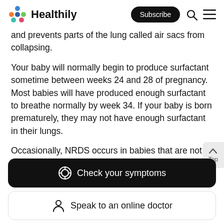Healthily | Subscribe
and prevents parts of the lung called air sacs from collapsing.
Your baby will normally begin to produce surfactant sometime between weeks 24 and 28 of pregnancy. Most babies will have produced enough surfactant to breathe normally by week 34. If your baby is born prematurely, they may not have enough surfactant in their lungs.
Occasionally, NRDS occurs in babies that are not born prematurely. This is usually due to a problem with the genes that play a role in lung development.
Check your symptoms
Speak to an online doctor